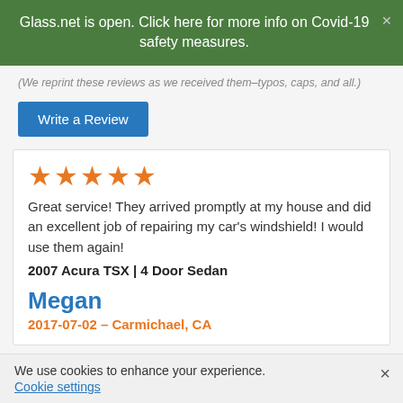Glass.net is open. Click here for more info on Covid-19 safety measures.
(We reprint these reviews as we received them–typos, caps, and all.)
Write a Review
★★★★★
Great service! They arrived promptly at my house and did an excellent job of repairing my car's windshield! I would use them again!
2007 Acura TSX | 4 Door Sedan
Megan
2017-07-02 – Carmichael, CA
We use cookies to enhance your experience.
Cookie settings